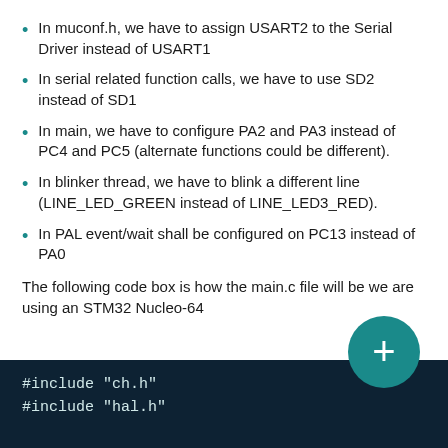In muconf.h, we have to assign USART2 to the Serial Driver instead of USART1
In serial related function calls, we have to use SD2 instead of SD1
In main, we have to configure PA2 and PA3 instead of PC4 and PC5 (alternate functions could be different).
In blinker thread, we have to blink a different line (LINE_LED_GREEN instead of LINE_LED3_RED).
In PAL event/wait shall be configured on PC13 instead of PA0
The following code box is how the main.c file will be we are using an STM32 Nucleo-64
[Figure (screenshot): Code box with dark background showing: #include "ch.h" and #include "hal.h"]